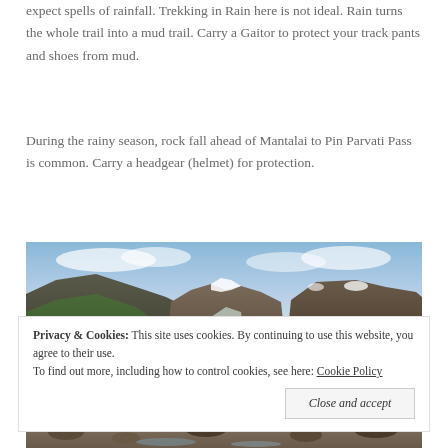expect spells of rainfall. Trekking in Rain here is not ideal. Rain turns the whole trail into a mud trail. Carry a Gaitor to protect your track pants and shoes from mud.
During the rainy season, rock fall ahead of Mantalai to Pin Parvati Pass is common. Carry a headgear (helmet) for protection.
[Figure (photo): Panoramic mountain landscape with blue sky, snow patches, and rugged peaks]
Privacy & Cookies: This site uses cookies. By continuing to use this website, you agree to their use. To find out more, including how to control cookies, see here: Cookie Policy
[Figure (photo): Rocky river scene at bottom of page]